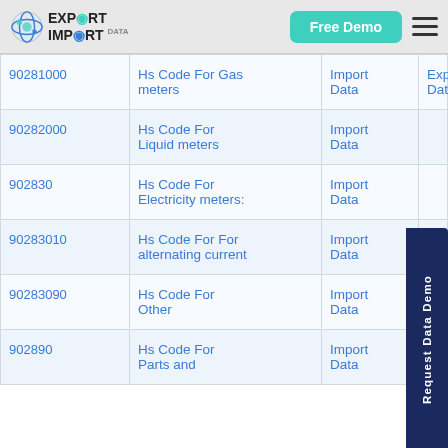EXPORT IMPORT DATA — Free Demo navigation bar
| Hs Codes | Products | Import | Export |
| --- | --- | --- | --- |
| 90281000 | Hs Code For Gas meters | Import Data | Export Data |
| 90282000 | Hs Code For Liquid meters | Import Data | Export Data |
| 902830 | Hs Code For Electricity meters: | Import Data | Export Data |
| 90283010 | Hs Code For For alternating current | Import Data | Export Data |
| 90283090 | Hs Code For Other | Import Data | Export Data |
| 902890 | Hs Code For Parts and | Import Data | Export Data |